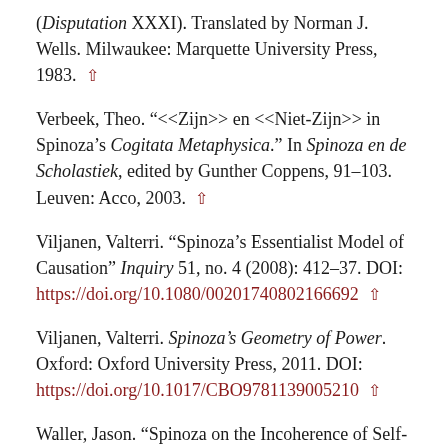(*Disputation* XXXI). Translated by Norman J. Wells. Milwaukee: Marquette University Press, 1983. ↑
Verbeek, Theo. "<<Zijn>> en <<Niet-Zijn>> in Spinoza's *Cogitata Metaphysica*." In *Spinoza en de Scholastiek*, edited by Gunther Coppens, 91–103. Leuven: Acco, 2003. ↑
Viljanen, Valterri. "Spinoza's Essentialist Model of Causation" *Inquiry* 51, no. 4 (2008): 412–37. DOI: https://doi.org/10.1080/0020174080216692 ↑
Viljanen, Valterri. *Spinoza's Geometry of Power*. Oxford: Oxford University Press, 2011. DOI: https://doi.org/10.1017/CBO9781139005210 ↑
Waller, Jason. "Spinoza on the Incoherence of Self-